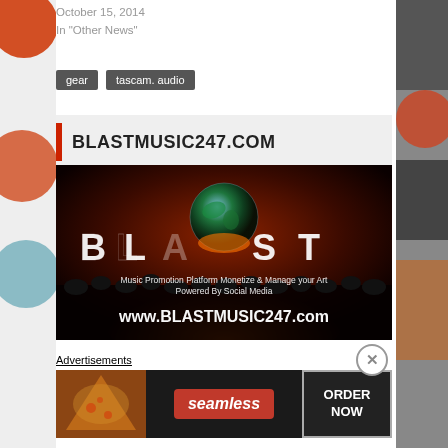October 15, 2014
In "Other News"
gear   tascam. audio
BLASTMUSIC247.COM
[Figure (photo): BLASTMUSIC247.com promotional banner showing 'BLAST' letters with earth globe, crowd of people, text: Music Promotion Platform, Monetize & Manage your Art, Powered By Social Media, www.BLASTMUSIC247.com]
Advertisements
[Figure (photo): Seamless food ordering advertisement banner with pizza image on left, seamless logo in center, ORDER NOW button on right]